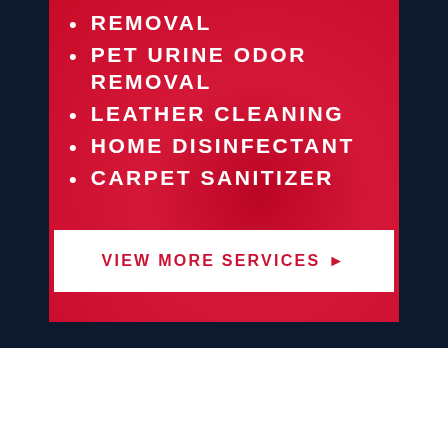REMOVAL
PET URINE ODOR REMOVAL
LEATHER CLEANING
HOME DISINFECTANT
CARPET SANITIZER
VIEW MORE SERVICES ▶